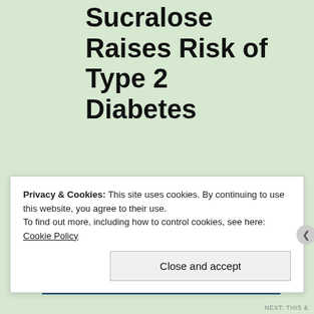Sucralose Raises Risk of Type 2 Diabetes
Like all other artificial sweeteners, sucralose is commonly used by diabetics who need to limit their sugar consumption. However, research again shows you simply cannot trick your body with calorie-free sweetness. Research24 published in 2013 revealed sucralose alters
Privacy & Cookies: This site uses cookies. By continuing to use this website, you agree to their use.
To find out more, including how to control cookies, see here: Cookie Policy